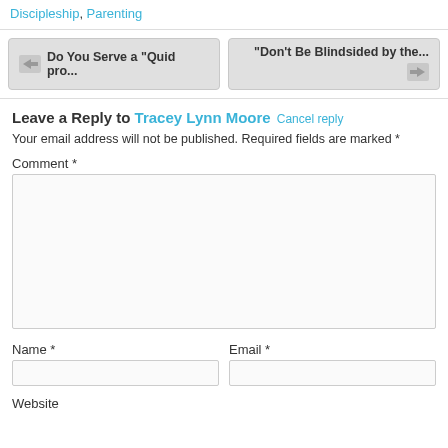Discipleship, Parenting
Do You Serve a "Quid pro...
"Don't Be Blindsided by the...
Leave a Reply to Tracey Lynn Moore Cancel reply
Your email address will not be published. Required fields are marked *
Comment *
Name *
Email *
Website